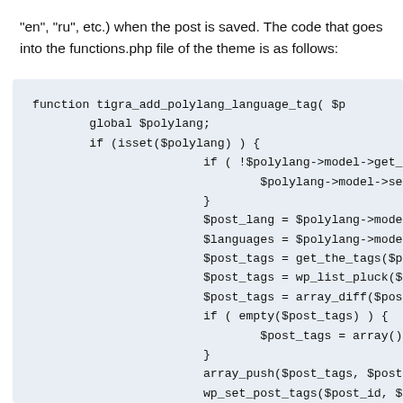"en", "ru", etc.) when the post is saved. The code that goes into the functions.php file of the theme is as follows:
function tigra_add_polylang_language_tag( $p
        global $polylang;
        if (isset($polylang) ) {
                        if ( !$polylang->model->get_
                                $polylang->model->se
                        }
                        $post_lang = $polylang->mode
                        $languages = $polylang->mode
                        $post_tags = get_the_tags($p
                        $post_tags = wp_list_pluck($
                        $post_tags = array_diff($pos
                        if ( empty($post_tags) ) {
                                $post_tags = array()
                        }
                        array_push($post_tags, $post
                        wp_set_post_tags($post_id, $
        }
}
add_action( 'save_post', 'tigra_add_polylang